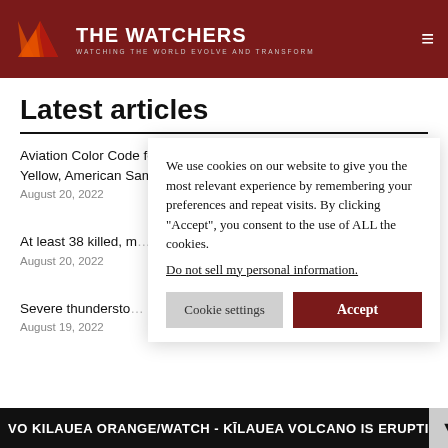THE WATCHERS — WATCHING THE WORLD EVOLVE AND TRANSFORM
Latest articles
Aviation Color Code for Ta'u and Ofu-Olosega volcanos raised to Yellow, American Samoa
August 20, 2022
At least 38 killed, [more] Algeria
August 20, 2022
Severe thundersto[rms]
August 19, 2022
We use cookies on our website to give you the most relevant experience by remembering your preferences and repeat visits. By clicking “Accept”, you consent to the use of ALL the cookies.
Do not sell my personal information.
VO KILAUEA ORANGE/WATCH - KĪLAUEA VOLCANO IS ERUPTI[NG]